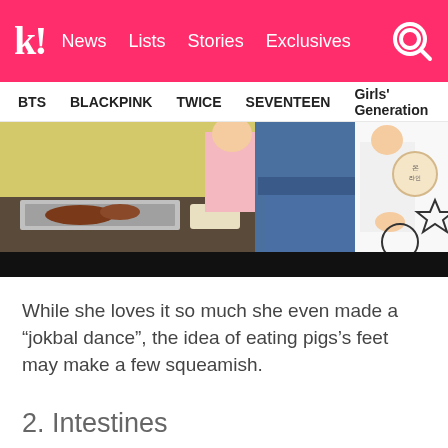k! News Lists Stories Exclusives
BTS BLACKPINK TWICE SEVENTEEN Girls' Generation
[Figure (screenshot): Video still from a Korean TV show showing people at a table with food and a person in denim shorts]
While she loves it so much she even made a “jokbal dance”, the idea of eating pigs’s feet may make a few squeamish.
2. Intestines
[Figure (screenshot): Thumbnail of Korean TV show with text 주스미거나 and tvN logo]